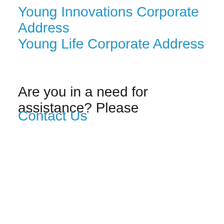Young Innovations Corporate Address
Young Life Corporate Address
Are you in a need for assistance? Please
Contact Us